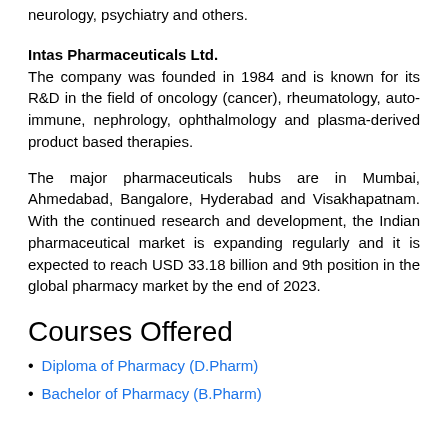neurology, psychiatry and others.
Intas Pharmaceuticals Ltd.
The company was founded in 1984 and is known for its R&D in the field of oncology (cancer), rheumatology, auto-immune, nephrology, ophthalmology and plasma-derived product based therapies.
The major pharmaceuticals hubs are in Mumbai, Ahmedabad, Bangalore, Hyderabad and Visakhapatnam. With the continued research and development, the Indian pharmaceutical market is expanding regularly and it is expected to reach USD 33.18 billion and 9th position in the global pharmacy market by the end of 2023.
Courses Offered
Diploma of Pharmacy (D.Pharm)
Bachelor of Pharmacy (B.Pharm)